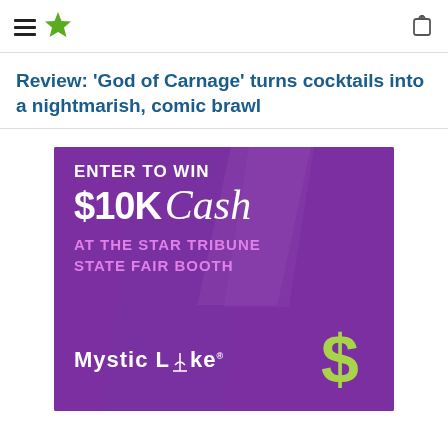Star Tribune navigation header with hamburger menu and share icon
Review: ‘God of Carnage’ turns cocktails into a nightmarish, comic brawl
[Figure (advertisement): Mystic Lake Casino advertisement: purple background with diagonal stripe design. Text reads 'ENTER TO WIN $10K Cash AT THE STAR TRIBUNE STATE FAIR BOOTH' with Mystic Lake logo and green dollar sign graphic.]